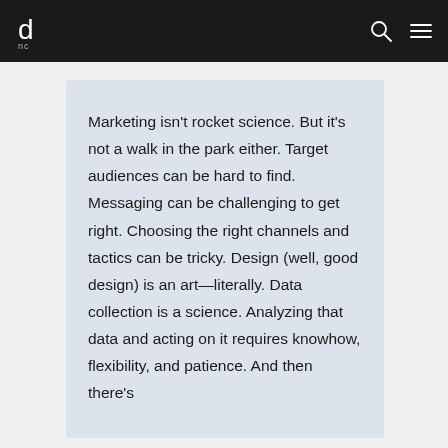d (logo) | search icon | menu icon
Marketing isn't rocket science. But it's not a walk in the park either. Target audiences can be hard to find. Messaging can be challenging to get right. Choosing the right channels and tactics can be tricky. Design (well, good design) is an art—literally. Data collection is a science. Analyzing that data and acting on it requires knowhow, flexibility, and patience. And then there's